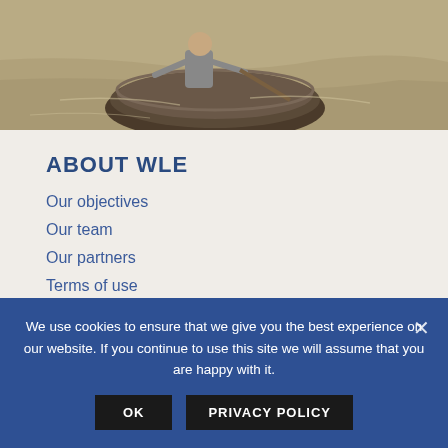[Figure (photo): A person sitting in a round wooden boat on a muddy river, viewed from above at an angle. The boat is a traditional coracle-style vessel.]
ABOUT WLE
Our objectives
Our team
Our partners
Terms of use
Newsletters
Contact us
We use cookies to ensure that we give you the best experience on our website. If you continue to use this site we will assume that you are happy with it.